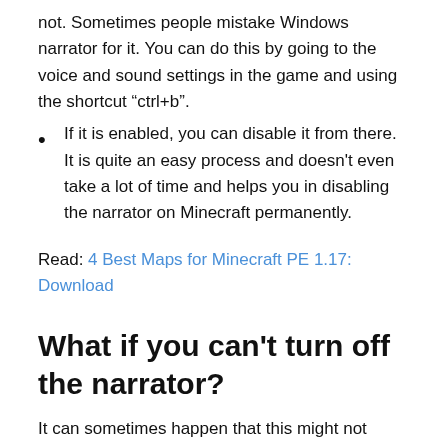not. Sometimes people mistake Windows narrator for it. You can do this by going to the voice and sound settings in the game and using the shortcut “ctrl+b”.
If it is enabled, you can disable it from there. It is quite an easy process and doesn't even take a lot of time and helps you in disabling the narrator on Minecraft permanently.
Read: 4 Best Maps for Minecraft PE 1.17: Download
What if you can’t turn off the narrator?
It can sometimes happen that this might not work. There are other methods too that can work out for you. However, in case no method works out for you,